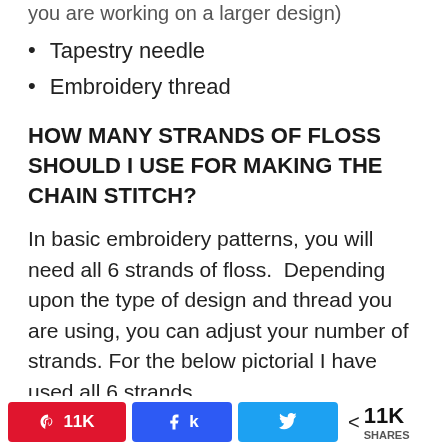you are working on a larger design)
Tapestry needle
Embroidery thread
HOW MANY STRANDS OF FLOSS SHOULD I USE FOR MAKING THE CHAIN STITCH?
In basic embroidery patterns, you will need all 6 strands of floss.  Depending upon the type of design and thread you are using, you can adjust your number of strands. For the below pictorial I have used all 6 strands